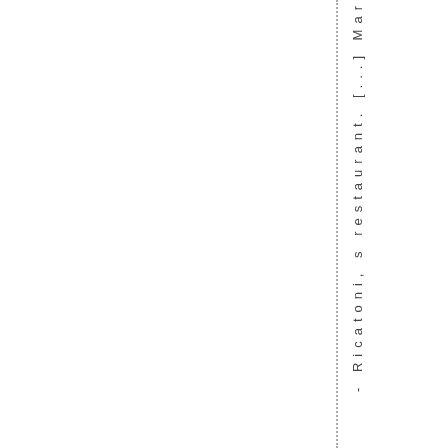- Ricatoni, s restaurant. [...] Mar